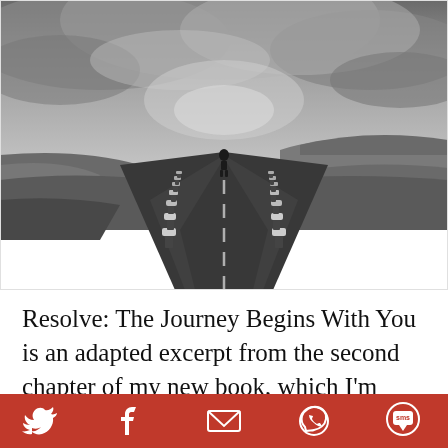[Figure (photo): Black and white photograph of a narrow road stretching to the horizon with a lone person walking in the distance, flanked by bollards, with water on both sides and a dramatic cloudy sky above.]
Resolve: The Journey Begins With You is an adapted excerpt from the second chapter of my new book, which I'm pleased to share with you. It's about my first experience of
[Figure (infographic): Red footer bar with social media share icons: Twitter bird, Facebook f, email envelope, WhatsApp phone, and SMS chat bubble.]